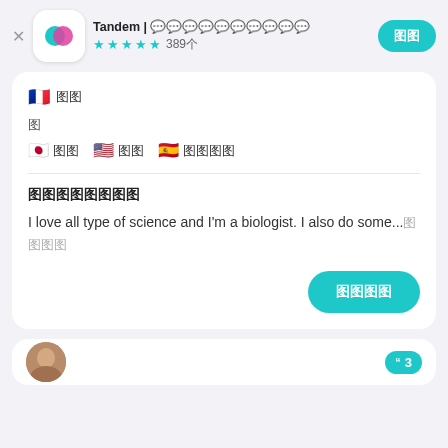Tandem | 언어교환 파트너 찾기 — ★★★★½ 389개
🇫🇷 프랑스어
배
🇯🇵 일본어  🇺🇸 영어  🇪🇸 스페인어
자기소개
I love all type of science and I'm a biologist. I also do some...더보기
파트너 찾기